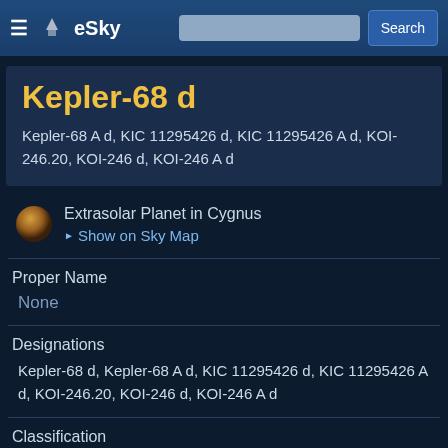eSky
Kepler-68 d
Kepler-68 A d, KIC 11295426 d, KIC 11295426 A d, KOI-246.20, KOI-246 d, KOI-246 A d
Extrasolar Planet in Cygnus
Show on Sky Map
Proper Name
None
Designations
Kepler-68 d, Kepler-68 A d, KIC 11295426 d, KIC 11295426 A d, KOI-246.20, KOI-246 d, KOI-246 A d
Classification
Gas giant